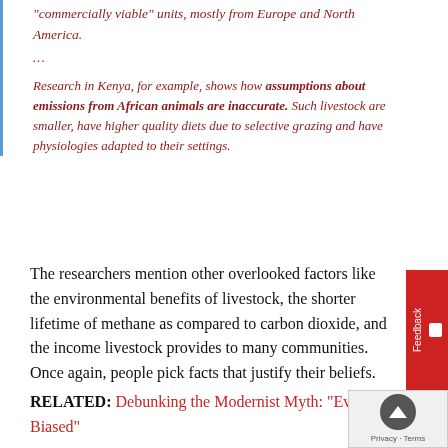“commercially viable” units, mostly from Europe and North America.
…
Research in Kenya, for example, shows how assumptions about emissions from African animals are inaccurate. Such livestock are smaller, have higher quality diets due to selective grazing and have physiologies adapted to their settings.
The researchers mention other overlooked factors like the environmental benefits of livestock, the shorter lifetime of methane as compared to carbon dioxide, and the income livestock provides to many communities. Once again, people pick facts that justify their beliefs.
RELATED: Debunking the Modernist Myth: “Everyo… Biased”